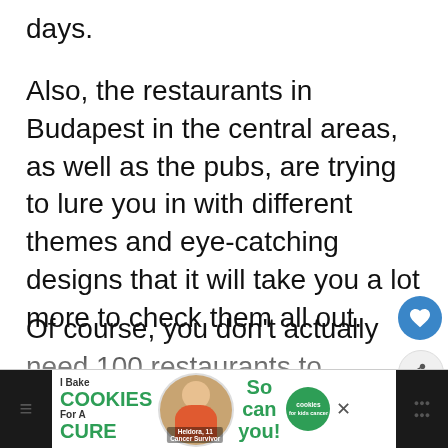days.
Also, the restaurants in Budapest in the central areas, as well as the pubs, are trying to lure you in with different themes and eye-catching designs that it will take you a lot more to check them all out.
Of course, you don't actually need 100 restaurants to enjoy good food and feel good, so even if Bucharest has a lot les to offer in terms of numbers and variety there are still many options to choose fro sta
[Figure (screenshot): Advertisement banner at the bottom: 'I Bake COOKIES For A CURE' with a photo of a woman and text 'So can you!' with a cookies for kids cancer badge. Dark strips on left and right edges with close buttons.]